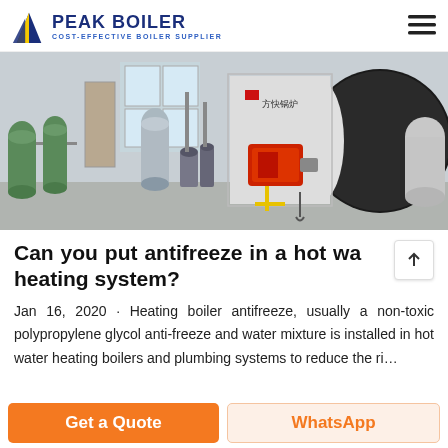PEAK BOILER · COST-EFFECTIVE BOILER SUPPLIER
[Figure (photo): Industrial boiler room with green water treatment tanks on the left, a large black cylindrical hot water boiler with a red burner in the center-right, and various pipes and equipment in the background.]
Can you put antifreeze in a hot water heating system?
Jan 16, 2020 · Heating boiler antifreeze, usually a non-toxic polypropylene glycol anti-freeze and water mixture is installed in hot water heating boilers and plumbing systems to reduce the ri...
Get a Quote
WhatsApp